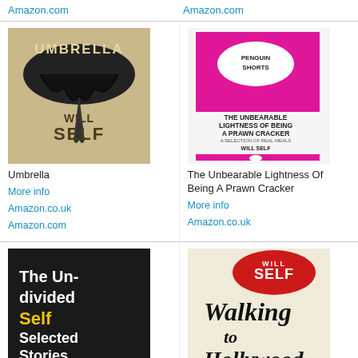Amazon.com
Amazon.com
[Figure (illustration): Book cover: Umbrella by Will Self — beige/tan background with a black broken umbrella image and bold text]
Umbrella
More info
Amazon.co.uk
Amazon.com
[Figure (illustration): Book cover: The Unbearable Lightness of Being A Prawn Cracker by Will Self — Penguin Shorts pink cover with penguin logo]
The Unbearable Lightness Of Being A Prawn Cracker
More info
Amazon.co.uk
[Figure (illustration): Book cover: The Undivided Self Selected Stories by Will Self — black cover with white and yellow text]
[Figure (illustration): Book cover: Walking to Hollywood by Will Self — cream/red cover with road and red ribbon shape]